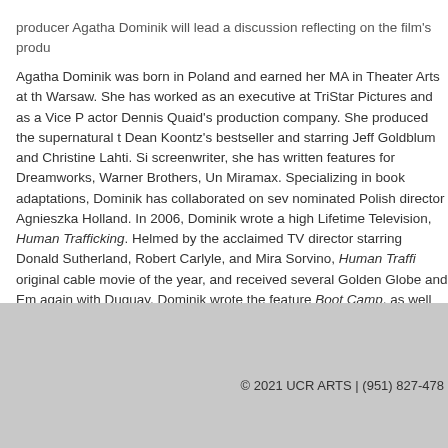producer Agatha Dominik will lead a discussion reflecting on the film's produ
Agatha Dominik was born in Poland and earned her MA in Theater Arts at th Warsaw. She has worked as an executive at TriStar Pictures and as a Vice P actor Dennis Quaid's production company. She produced the supernatural t Dean Koontz's bestseller and starring Jeff Goldblum and Christine Lahti. Si screenwriter, she has written features for Dreamworks, Warner Brothers, Un Miramax. Specializing in book adaptations, Dominik has collaborated on sev nominated Polish director Agnieszka Holland. In 2006, Dominik wrote a high Lifetime Television, Human Trafficking. Helmed by the acclaimed TV director starring Donald Sutherland, Robert Carlyle, and Mira Sorvino, Human Traffi original cable movie of the year, and received several Golden Globe and Em again with Duguay, Dominik wrote the feature Boot Camp, as well as the int Cinderella. For Lifetime, she wrote the prestigious miniseries Victoria Woodh Left Behind, both based on true stories. The latter aired in 2012, with Barba Cook in starring roles. Last year, Dominik finished writing two features and t
© 2021 UCR ARTS | (951) 827-478